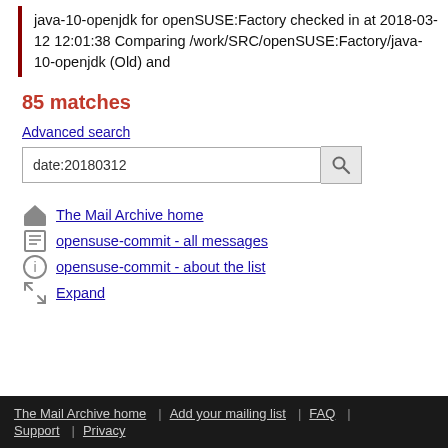java-10-openjdk for openSUSE:Factory checked in at 2018-03-12 12:01:38 Comparing /work/SRC/openSUSE:Factory/java-10-openjdk (Old) and
85 matches
Advanced search
date:20180312
The Mail Archive home
opensuse-commit - all messages
opensuse-commit - about the list
Expand
The Mail Archive home | Add your mailing list | FAQ | Support | Privacy